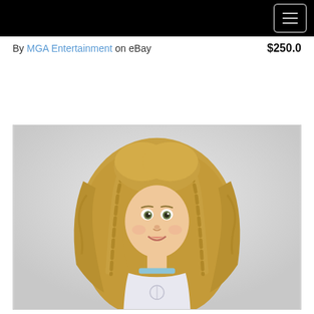Navigation menu header bar with hamburger icon
By MGA Entertainment on eBay   $250.0
[Figure (photo): A blonde doll with long curly hair and two braids framing the face, wearing a light-colored short sleeve top with a blue collar, against a light gray background.]